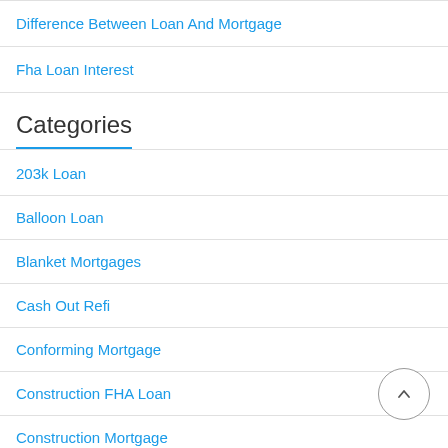Difference Between Loan And Mortgage
Fha Loan Interest
Categories
203k Loan
Balloon Loan
Blanket Mortgages
Cash Out Refi
Conforming Mortgage
Construction FHA Loan
Construction Mortgage
Conventional VS FHA Mortgage